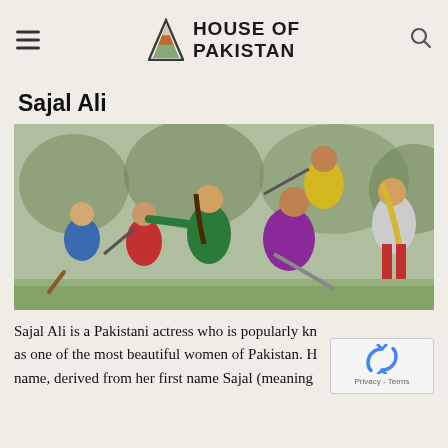HOUSE OF PAKISTAN
Sajal Ali
[Figure (illustration): Cartoon/anime-style illustration of six action characters in dynamic fighting poses on a grassy outdoor background. Characters include a woman in green, a man in purple, a man in yellow, a woman in white, and others in red and blue outfits.]
Sajal Ali is a Pakistani actress who is popularly kn as one of the most beautiful women of Pakistan. H name, derived from her first name Sajal (meaning